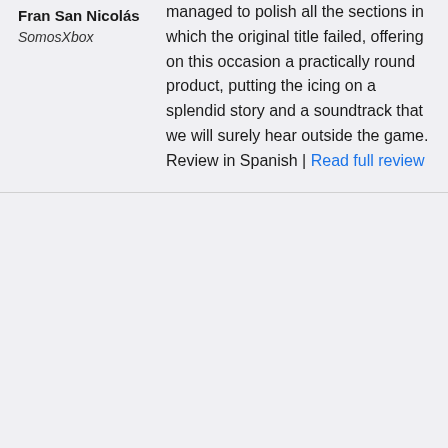Fran San Nicolás
SomosXbox
managed to polish all the sections in which the original title failed, offering on this occasion a practically round product, putting the icing on a splendid story and a soundtrack that we will surely hear outside the game. Review in Spanish | Read full review